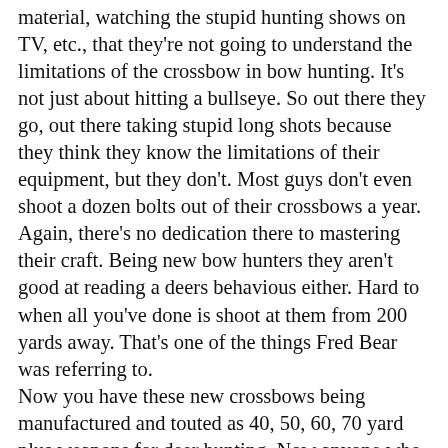material, watching the stupid hunting shows on TV, etc., that they're not going to understand the limitations of the crossbow in bow hunting. It's not just about hitting a bullseye. So out there they go, out there taking stupid long shots because they think they know the limitations of their equipment, but they don't. Most guys don't even shoot a dozen bolts out of their crossbows a year. Again, there's no dedication there to mastering their craft. Being new bow hunters they aren't good at reading a deers behavious either. Hard to when all you've done is shoot at them from 200 yards away. That's one of the things Fred Bear was referring to.
Now you have these new crossbows being manufactured and touted as 40, 50, 60, 70 yard plus weapons for deer hunting. Now anyone who has bow hunted for years knows that's just rediculous. So.many new hunter don't. Bow hunting you have a very, very limited shot placement and opportunity. I constantly hear about guys trying to shoot at deer which are facing them, bad angles, running, etc. It's not the bow which is the problem, as I've said earlier, we have two crossbows ourselves. It's the inexperience, the advertising, the hunting forums and social media which